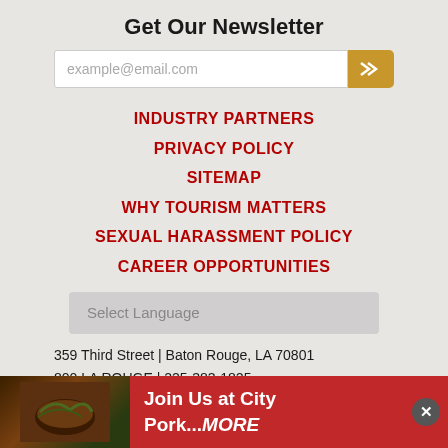Get Our Newsletter
[Figure (other): Email signup form with text input placeholder 'example@email.com' and a gold submit button with double chevron]
INDUSTRY PARTNERS
PRIVACY POLICY
SITEMAP
WHY TOURISM MATTERS
SEXUAL HARASSMENT POLICY
CAREER OPPORTUNITIES
[Figure (other): Select Language dropdown selector with light gray background]
359 Third Street | Baton Rouge, LA 70801
800 LA ROUGE | 225-383-1825
Monday - Friday, 8am - 5pm
[Figure (other): Bottom advertisement banner in red with food image on left and text 'Join Us at City Pork...MORE' on right with close button]